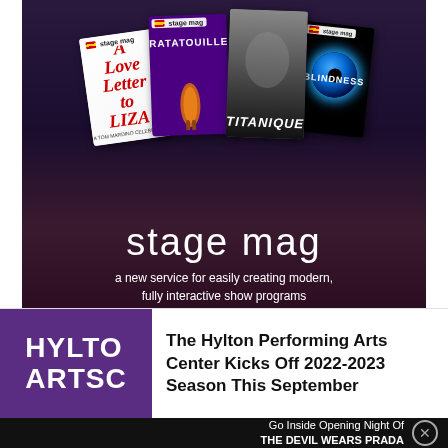[Figure (illustration): Stage Mag advertisement banner showing multiple show program covers (A Love Letter to Liza, Ratatouille, Titanique, Blindness) with large 'stage mag' branding and tagline 'a new service for easily creating modern, fully interactive show programs']
[Figure (logo): Hylton Arts Center purple logo block with white text reading HYLTO / ARTSO (partially cropped)]
The Hylton Performing Arts Center Kicks Off 2022-2023 Season This September
Go Inside Opening Night Of THE DEVIL WEARS PRADA